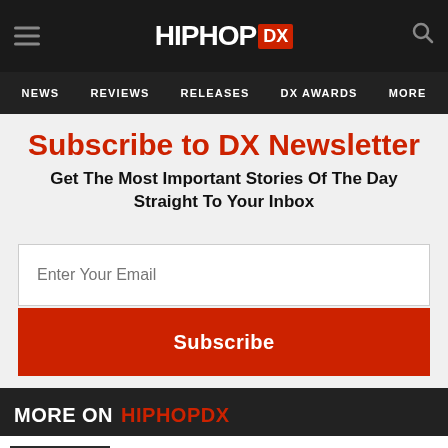HIPHOP DX — NEWS | REVIEWS | RELEASES | DX AWARDS | MORE
Subscribe to DX Newsletter
Get The Most Important Stories Of The Day Straight To Your Inbox
Enter Your Email
Subscribe
MORE ON HIPHOPDX
NLE CHOPPA DROPS 'PUSH IT' VIDEO AS YOUNG THUG AWAITS TRIAL IN RICO CASE